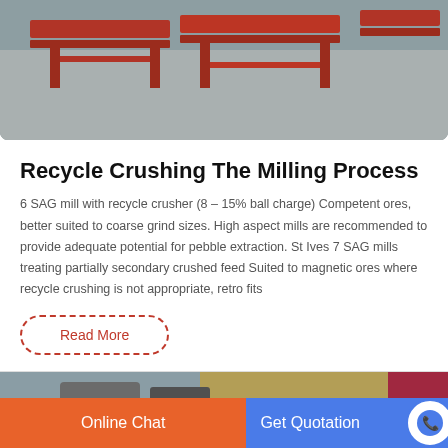[Figure (photo): Industrial red metal equipment frames stacked on a concrete floor]
Recycle Crushing The Milling Process
6 SAG mill with recycle crusher (8 – 15% ball charge) Competent ores, better suited to coarse grind sizes. High aspect mills are recommended to provide adequate potential for pebble extraction. St Ives 7 SAG mills treating partially secondary crushed feed Suited to magnetic ores where recycle crushing is not appropriate, retro fits
Read More
[Figure (photo): Industrial milling equipment and mineral processing machinery]
Online Chat
Get Quotation